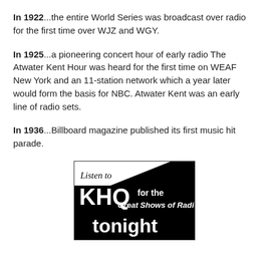In 1922...the entire World Series was broadcast over radio for the first time over WJZ and WGY.
In 1925...a pioneering concert hour of early radio The Atwater Kent Hour was heard for the first time on WEAF New York and an 11-station network which a year later would form the basis for NBC. Atwater Kent was an early line of radio sets.
In 1936...Billboard magazine published its first music hit parade.
[Figure (photo): Black and white advertisement image for KHQ radio station reading 'Listen to KHQ for the Great Shows of Radio tonight']